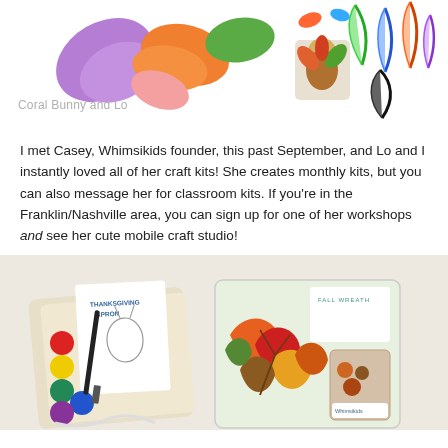[Figure (photo): Photo of colorful craft supplies including purple, orange, and green paper feather/leaf cutouts, colorful real feathers, and a small turkey figurine on a white background. Watermark text 'Coral Bunny and Lo' in gray.]
I met Casey, Whimsikids founder, this past September, and Lo and I instantly loved all of her craft kits! She creates monthly kits, but you can also message her for classroom kits. If you're in the Franklin/Nashville area, you can sign up for one of her workshops and see her cute mobile craft studio!
[Figure (photo): Photo of two craft kits laid out: a Thanksgiving Apron kit with paint circles (red, yellow, green, teal, blue, purple), black paintbrush, and instruction card; and a Fall Wreath kit with colorful felt autumn leaves in a clear bag. Both kits show instruction cards with text and turkey imagery.]